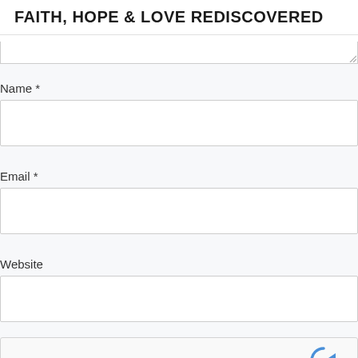FAITH, HOPE & LOVE REDISCOVERED
Name *
Email *
Website
[Figure (other): reCAPTCHA widget with checkbox and 'I'm not a robot' label, reCAPTCHA logo, Privacy and Terms links]